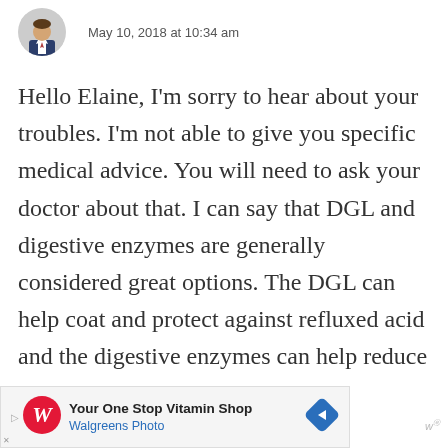[Figure (photo): Circular avatar photo of a man in a suit, partially visible at top left]
May 10, 2018 at 10:34 am
Hello Elaine, I'm sorry to hear about your troubles. I'm not able to give you specific medical advice. You will need to ask your doctor about that. I can say that DGL and digestive enzymes are generally considered great options. The DGL can help coat and protect against refluxed acid and the digestive enzymes can help reduce bloat... Since you've
[Figure (other): Advertisement banner for Walgreens Photo: 'Your One Stop Vitamin Shop' with Walgreens W logo and blue arrow icon]